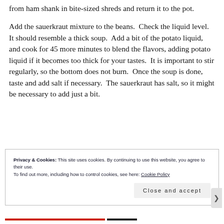from ham shank in bite-sized shreds and return it to the pot.
Add the sauerkraut mixture to the beans.  Check the liquid level.  It should resemble a thick soup.  Add a bit of the potato liquid, and cook for 45 more minutes to blend the flavors, adding potato liquid if it becomes too thick for your tastes.  It is important to stir regularly, so the bottom does not burn.  Once the soup is done, taste and add salt if necessary.  The sauerkraut has salt, so it might be necessary to add just a bit.
Privacy & Cookies: This site uses cookies. By continuing to use this website, you agree to their use.
To find out more, including how to control cookies, see here: Cookie Policy
Close and accept